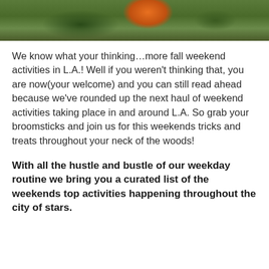[Figure (photo): Partial photo showing green foliage and an orange pumpkin at the top of the page]
We know what your thinking…more fall weekend activities in L.A.! Well if you weren't thinking that, you are now(your welcome) and you can still read ahead because we've rounded up the next haul of weekend activities taking place in and around L.A. So grab your broomsticks and join us for this weekends tricks and treats throughout your neck of the woods!
With all the hustle and bustle of our weekday routine we bring you a curated list of the weekends top activities happening throughout the city of stars.